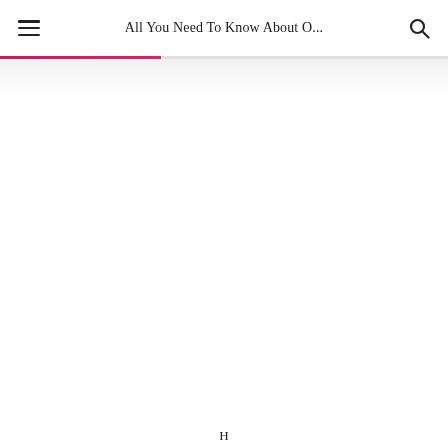All You Need To Know About O...
H